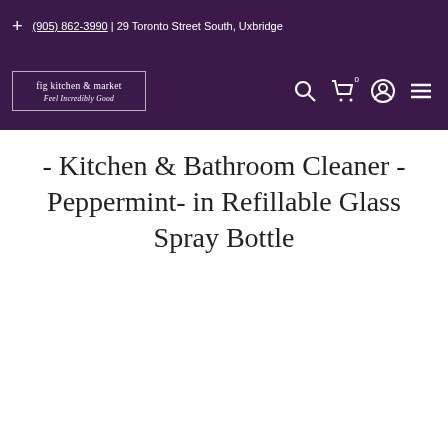+ (905) 862-3990 | 29 Toronto Street South, Uxbridge
[Figure (logo): fig kitchen & market logo with tagline 'Feel Incredibly Good' in white text on purple background, bordered box]
- Kitchen & Bathroom Cleaner - Peppermint- in Refillable Glass Spray Bottle